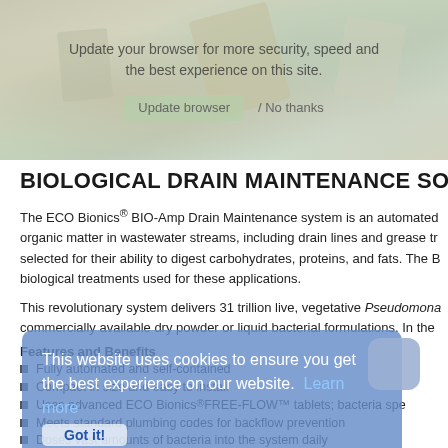[Figure (photo): Decorative image of what appears to be kitchen/drain-related equipment with a browser update overlay message reading 'Update your browser for more security, speed and the best experience on this site. Update browser / No thanks']
BIOLOGICAL DRAIN MAINTENANCE SOLUT
The ECO Bionics® BIO-Amp Drain Maintenance system is an automated organic matter in wastewater streams, including drain lines and grease tr selected for their ability to digest carbohydrates, proteins, and fats. The B biological treatments used for these applications.
This revolutionary system delivers 31 trillion live, vegetative Pseudomona commercially available dry powder or liquid bacterial formulations. In the
Features and Benefits
Fully automated and self-contained
Compact in size and easy to install
Uses advanced ECO Bionics® FREE-FLOW™ tablets; bacteria spe
Meets standard plumbing codes for backflow prevention
Doses vast amounts of bacteria into the system daily